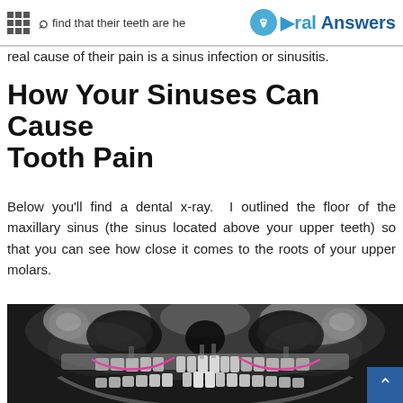dental school with painful teeth. Upon examination, we find that their teeth are healthy… Oral Answers
real cause of their pain is a sinus infection or sinusitis.
How Your Sinuses Can Cause Tooth Pain
Below you'll find a dental x-ray.  I outlined the floor of the maxillary sinus (the sinus located above your upper teeth) so that you can see how close it comes to the roots of your upper molars.
[Figure (photo): Panoramic dental x-ray (orthopantomogram) showing full jaw, teeth, and skull in grayscale. Pink/magenta lines outline the floor of the maxillary sinus on both left and right sides, showing proximity to upper molar roots.]